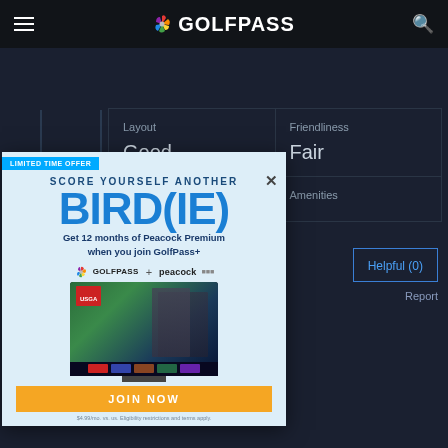GOLFPASS navigation bar
| Layout | Friendliness |
| --- | --- |
| Good | Fair |
| Pace | Amenities |
[Figure (screenshot): GolfPass promotional popup ad: 'SCORE YOURSELF ANOTHER BIRD(IE) - Get 12 months of Peacock Premium when you join GolfPass+'. Shows GolfPass + Peacock logos, a TV screen with USGA content, a JOIN NOW button, and fine print. Badge says LIMITED TIME OFFER.]